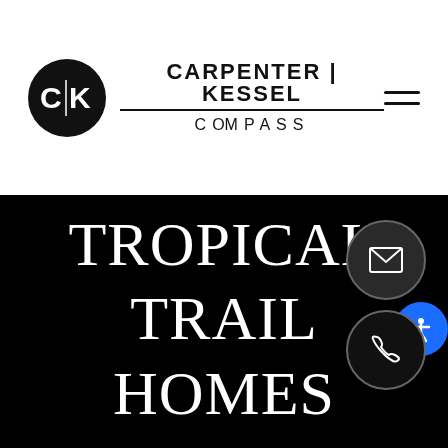[Figure (logo): Carpenter Kessel Compass logo with black circle containing C|K initials, and text CARPENTER | KESSEL above COMPASS]
SOUTH TROPICAL TRAIL HOMES